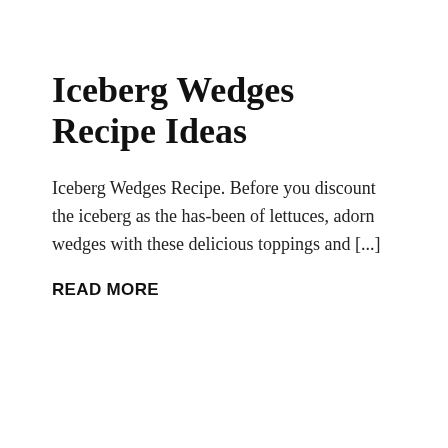Iceberg Wedges Recipe Ideas
Iceberg Wedges Recipe. Before you discount the iceberg as the has-been of lettuces, adorn wedges with these delicious toppings and [...]
READ MORE